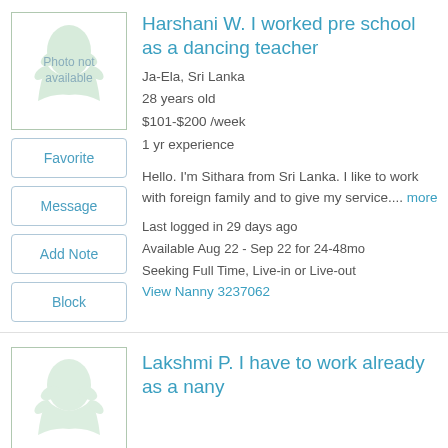Harshani W. I worked pre school as a dancing teacher
Ja-Ela, Sri Lanka
28 years old
$101-$200 /week
1 yr experience
Hello. I'm Sithara from Sri Lanka. I like to work with foreign family and to give my service.... more
Last logged in 29 days ago
Available Aug 22 - Sep 22 for 24-48mo
Seeking Full Time, Live-in or Live-out
View Nanny 3237062
Lakshmi P. I have to work already as a nany